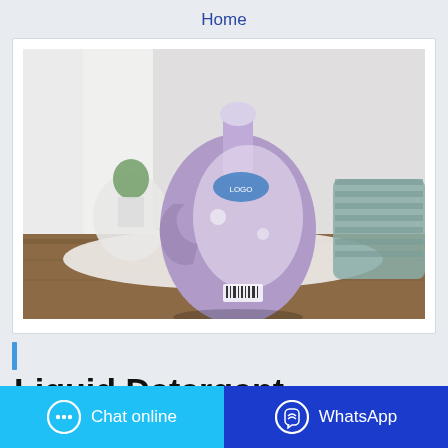Home
[Figure (photo): Purple liquid detergent bottle (back label visible) sitting on a wooden surface with white fabric and a plant/basket in the background, indoors with soft lighting.]
Liquid Detergent